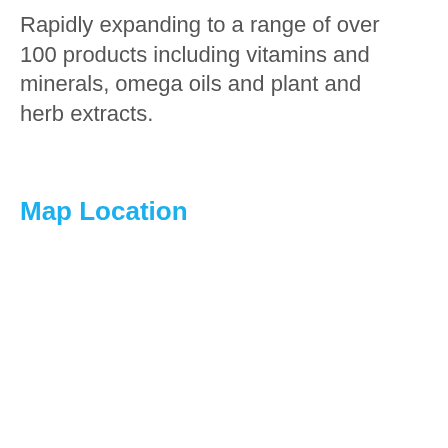Rapidly expanding to a range of over 100 products including vitamins and minerals, omega oils and plant and herb extracts.
Map Location